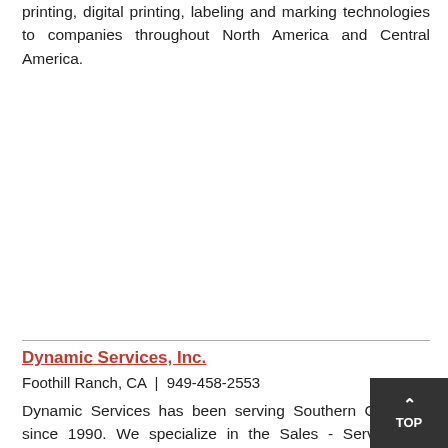printing, digital printing, labeling and marking technologies to companies throughout North America and Central America.
Dynamic Services, Inc.
Foothill Ranch, CA  |  949-458-2553
Dynamic Services has been serving Southern California since 1990. We specialize in the Sales - Service and Supplies of